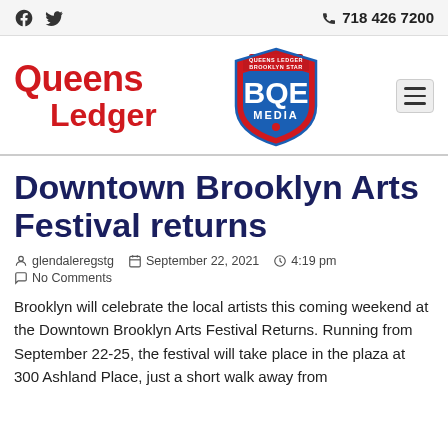Social icons: Facebook, Twitter | Phone: 718 426 7200
[Figure (logo): Queens Ledger / BQE Media shield logo with text QUEENS LEDGER BROOKLYN STAR BQE MEDIA]
Downtown Brooklyn Arts Festival returns
glendaleregstg   September 22, 2021   4:19 pm   No Comments
Brooklyn will celebrate the local artists this coming weekend at the Downtown Brooklyn Arts Festival Returns. Running from September 22-25, the festival will take place in the plaza at 300 Ashland Place, just a short walk away from